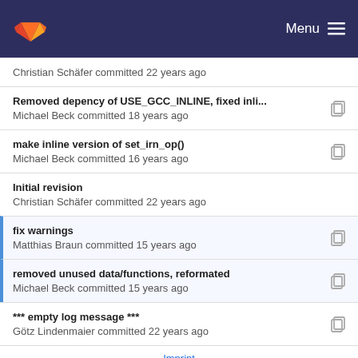Menu
Christian Schäfer committed 22 years ago
Removed depency of USE_GCC_INLINE, fixed inli...
Michael Beck committed 18 years ago
make inline version of set_irn_op()
Michael Beck committed 16 years ago
Initial revision
Christian Schäfer committed 22 years ago
fix warnings
Matthias Braun committed 15 years ago
removed unused data/functions, reformated
Michael Beck committed 15 years ago
*** empty log message ***
Götz Lindenmaier committed 22 years ago
Imprint